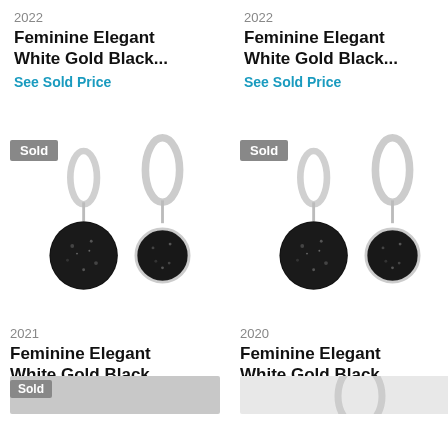2022
Feminine Elegant White Gold Black...
See Sold Price
[Figure (photo): Silver hoop earrings with black druzy stone pendants, Sold badge overlay]
2021
Feminine Elegant White Gold Black...
See Sold Price
2022
Feminine Elegant White Gold Black...
See Sold Price
[Figure (photo): Silver hoop earrings with black druzy stone pendants, Sold badge overlay]
2020
Feminine Elegant White Gold Black...
See Sold Price
[Figure (photo): Partial view of earrings, bottom of page cropped]
[Figure (photo): Partial view of earrings, bottom of page cropped]